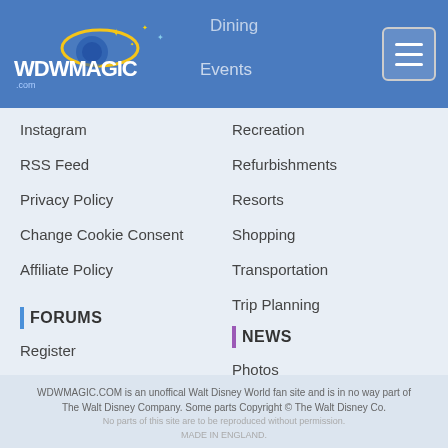[Figure (logo): WDWMAGIC.com logo with stars and swoosh on blue header background]
Instagram
RSS Feed
Privacy Policy
Change Cookie Consent
Affiliate Policy
FORUMS
Register
Help
REVIEWS
Recreation
Refurbishments
Resorts
Shopping
Transportation
Trip Planning
NEWS
Photos
Video
A-Z
WDWMAGIC App
WDWMAGIC.COM is an unoffical Walt Disney World fan site and is in no way part of The Walt Disney Company. Some parts Copyright © The Walt Disney Co. No parts of this site are to be reproduced without permission. MADE IN ENGLAND.